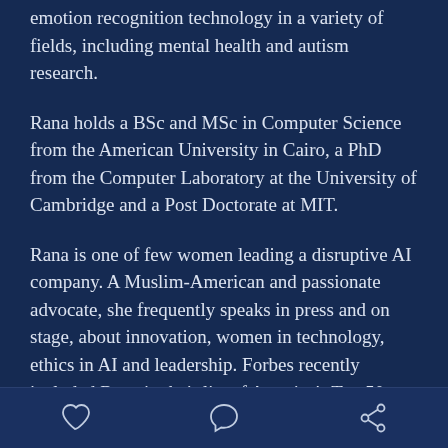emotion recognition technology in a variety of fields, including mental health and autism research.
Rana holds a BSc and MSc in Computer Science from the American University in Cairo, a PhD from the Computer Laboratory at the University of Cambridge and a Post Doctorate at MIT.
Rana is one of few women leading a disruptive AI company. A Muslim-American and passionate advocate, she frequently speaks in press and on stage, about innovation, women in technology, ethics in AI and leadership. Forbes recently included Rana in their list of America's Top 50
[like] [comment] [share]